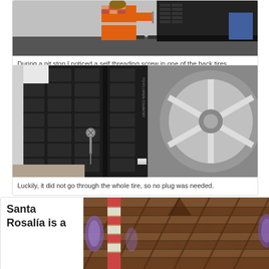[Figure (photo): A person in an orange high-visibility vest examining or working on a vehicle tire/wheel area]
During a pit stop I noticed a self threading screw in one of the back tires.
[Figure (photo): Close-up of a truck or SUV tire tread with a self-threading screw embedded in it, with chrome wheel rim visible on the right]
Luckily, it did not go through the whole tire, so no plug was needed.
Santa Rosalía is a
[Figure (photo): Interior of a church or cathedral showing wooden ceiling beams and arched windows with purple/violet lighting]